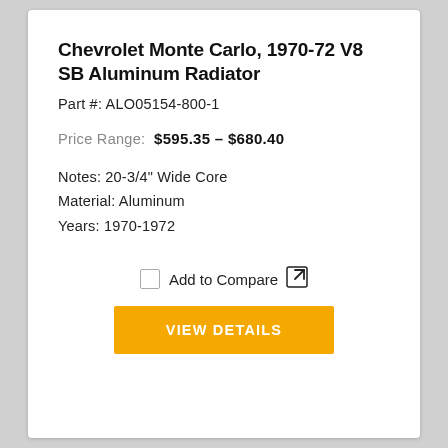Chevrolet Monte Carlo, 1970-72 V8 SB Aluminum Radiator
Part #: ALO05154-800-1
Price Range: $595.35 – $680.40
Notes: 20-3/4" Wide Core
Material: Aluminum
Years: 1970-1972
Add to Compare
VIEW DETAILS